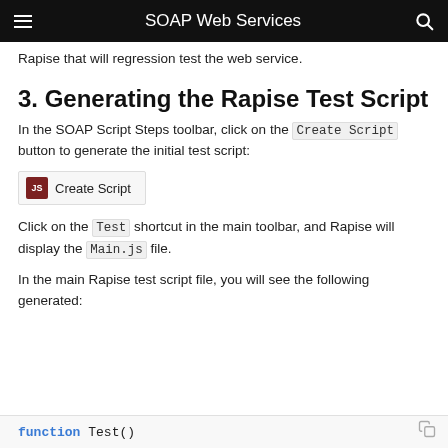SOAP Web Services
Rapise that will regression test the web service.
3. Generating the Rapise Test Script
In the SOAP Script Steps toolbar, click on the Create Script button to generate the initial test script:
[Figure (screenshot): Create Script button in the toolbar]
Click on the Test shortcut in the main toolbar, and Rapise will display the Main.js file.
In the main Rapise test script file, you will see the following generated:
function Test()